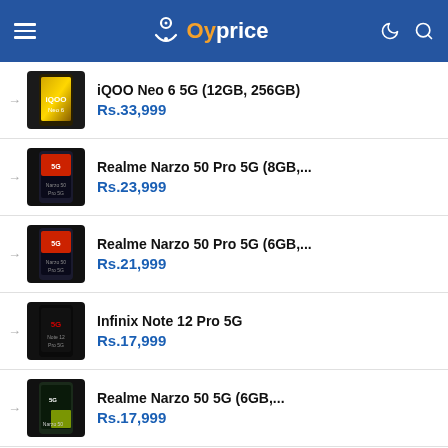Oyprice
iQOO Neo 6 5G (12GB, 256GB) — Rs.33,999
Realme Narzo 50 Pro 5G (8GB,... — Rs.23,999
Realme Narzo 50 Pro 5G (6GB,... — Rs.21,999
Infinix Note 12 Pro 5G — Rs.17,999
Realme Narzo 50 5G (6GB,... — Rs.17,999
Realme Narzo 50 5G (4GB, 64GB) — Rs.16,999